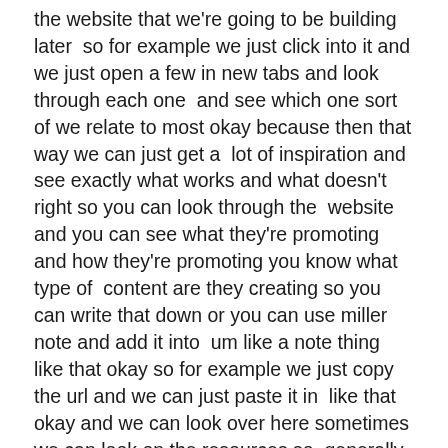the website that we're going to be building later  so for example we just click into it and we just open a few in new tabs and look through each one  and see which one sort of we relate to most okay because then that way we can just get a  lot of inspiration and see exactly what works and what doesn't right so you can look through the  website and you can see what they're promoting and how they're promoting you know what type of  content are they creating so you can write that down or you can use miller note and add it into  um like a note thing like that okay so for example we just copy the url and we can just paste it in  like that okay and we can look over here sometimes we can look on the resources so  generally if they have like a resources or recommended section on their website  that is probably what is working for them right those are the most  highly uh purchased products on their website and so you can have a look over here  and see what they're promoting see if there's any product that you align with so for example maybe  you have used it before you have seen other people use it before um it's something that  you are personally interested